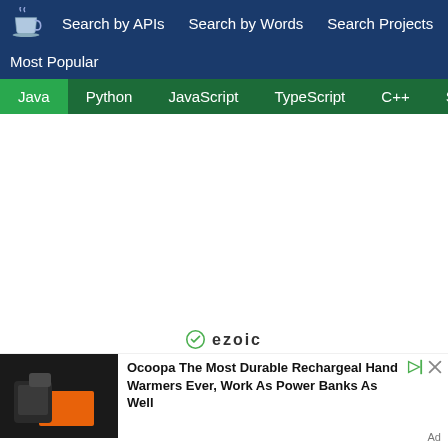Search by APIs  Search by Words  Search Projects
Most Popular
Java  Python  JavaScript  TypeScript  C++  Scala
[Figure (other): ezoic advertisement logo and ad content: Ocoopa The Most Durable Rechargeable Hand Warmers Ever, Work As Power Banks As Well]